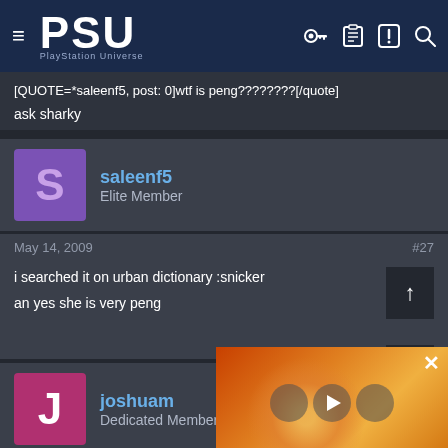PSU PlayStation Universe
[QUOTE=*saleenf5, post: 0]wtf is peng????????[/quote]
ask sharky
saleenf5
Elite Member
May 14, 2009  #27
i searched it on urban dictionary :snicker

an yes she is very peng
joshuam
Dedicated Member
May 14, 2009
[QUOTE=*saleenf5, post: 0]i searched it...